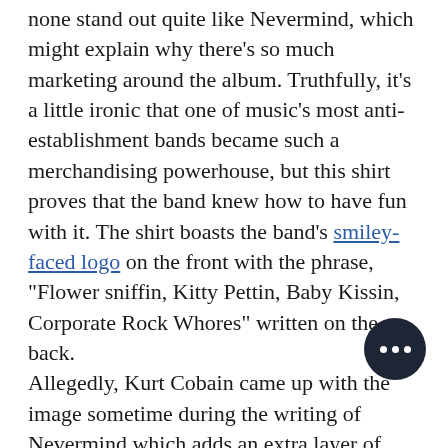none stand out quite like Nevermind, which might explain why there's so much marketing around the album. Truthfully, it's a little ironic that one of music's most anti-establishment bands became such a merchandising powerhouse, but this shirt proves that the band knew how to have fun with it. The shirt boasts the band's smiley-faced logo on the front with the phrase, "Flower sniffin, Kitty Pettin, Baby Kissin, Corporate Rock Whores" written on the back.
Allegedly, Kurt Cobain came up with the image sometime during the writing of Nevermind which adds an extra layer of cool to the shirt.
The Ramones - Presidential...